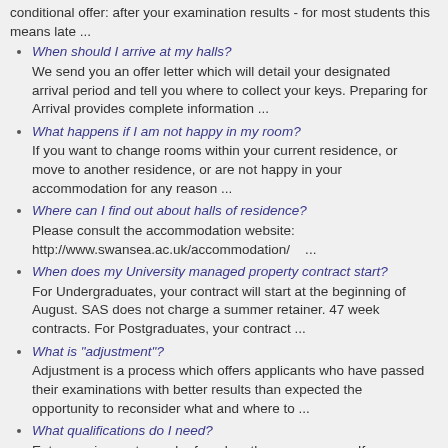conditional offer: after your examination results - for most students this means late ...
When should I arrive at my halls?
We send you an offer letter which will detail your designated arrival period and tell you where to collect your keys. Preparing for Arrival provides complete information ...
What happens if I am not happy in my room?
If you want to change rooms within your current residence, or move to another residence, or are not happy in your accommodation for any reason ...
Where can I find out about halls of residence?
Please consult the accommodation website: http://www.swansea.ac.uk/accommodation/    ...
When does my University managed property contract start?
For Undergraduates, your contract will start at the beginning of August. SAS does not charge a summer retainer. 47 week contracts. For Postgraduates, your contract ...
What is "adjustment"?
Adjustment is a process which offers applicants who have passed their examinations with better results than expected the opportunity to reconsider what and where to ...
What qualifications do I need?
Entry requirements can be found on the course pages If your qualifications are not listed, please contact the Admissions Office for further details.